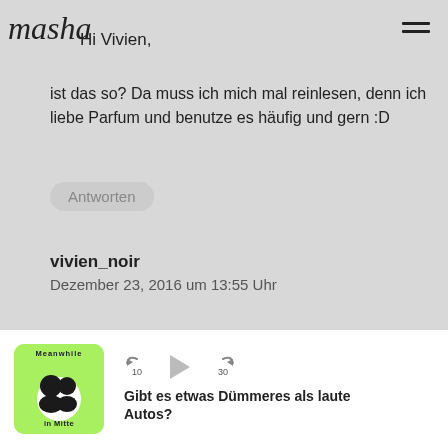masha
Hi Vivien,
ist das so? Da muss ich mich mal reinlesen, denn ich liebe Parfum und benutze es häufig und gern :D
Antworten
vivien_noir
Dezember 23, 2016 um 13:55 Uhr
[Figure (logo): Meanwhile in Mitte podcast logo: green circular badge with two people and text 'Meanwhile in Mitte' around the edge]
Gibt es etwas Dümmeres als laute Autos?